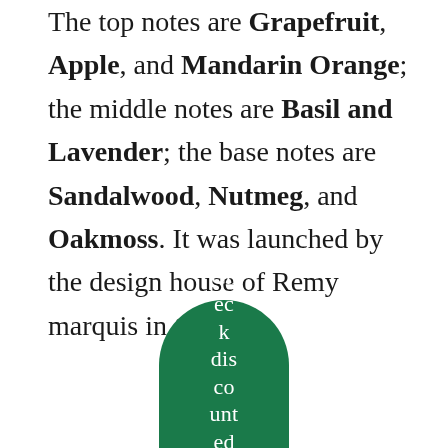The top notes are Grapefruit, Apple, and Mandarin Orange; the middle notes are Basil and Lavender; the base notes are Sandalwood, Nutmeg, and Oakmoss. It was launched by the design house of Remy marquis in 1999.
[Figure (other): A green rounded badge/button shape (pill top, flat bottom) containing white text reading 'Check discounted Price her' arranged vertically]